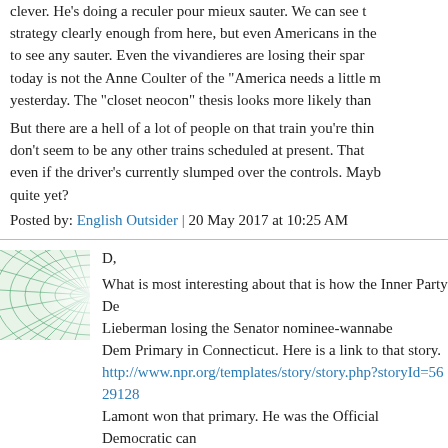clever. He's doing a reculer pour mieux sauter. We can see the strategy clearly enough from here, but even Americans in the to see any sauter. Even the vivandieres are losing their spark today is not the Anne Coulter of the "America needs a little m yesterday. The "closet neocon" thesis looks more likely than
But there are a hell of a lot of people on that train you're thinking don't seem to be any other trains scheduled at present. That even if the driver's currently slumped over the controls. Maybe quite yet?
Posted by: English Outsider | 20 May 2017 at 10:25 AM
[Figure (illustration): Avatar image with geometric grid pattern in green/teal colors]
D,
What is most interesting about that is how the Inner Party De Lieberman losing the Senator nominee-wannabe Dem Primary in Connecticut. Here is a link to that story. http://www.npr.org/templates/story/story.php?storyId=5629128 Lamont won that primary. He was the Official Democratic cand Connecticut. You would think the DemParty would have there would have been proven wrong.
The Inner Party Clintocrats all supported the newly-reminted-